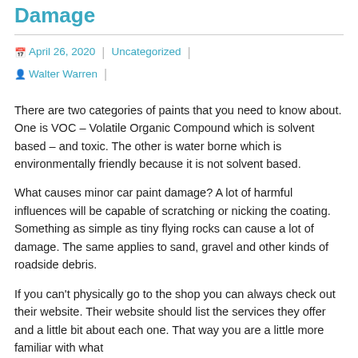Damage
April 26, 2020  Uncategorized  Walter Warren
There are two categories of paints that you need to know about. One is VOC – Volatile Organic Compound which is solvent based – and toxic. The other is water borne which is environmentally friendly because it is not solvent based.
What causes minor car paint damage? A lot of harmful influences will be capable of scratching or nicking the coating. Something as simple as tiny flying rocks can cause a lot of damage. The same applies to sand, gravel and other kinds of roadside debris.
If you can't physically go to the shop you can always check out their website. Their website should list the services they offer and a little bit about each one. That way you are a little more familiar with what you're going to see at the face of the…